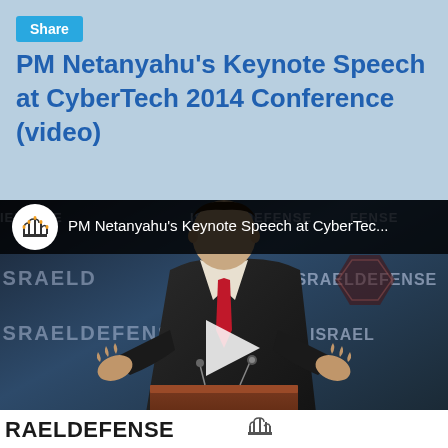Share
PM Netanyahu's Keynote Speech at CyberTech 2014 Conference (video)
[Figure (screenshot): YouTube embedded video thumbnail showing PM Netanyahu giving a keynote speech at CyberTech 2014 Conference at a podium with ISRAELDEFENSE banners in the background. A play button is overlaid in the center. The video bar at the top shows the Israeli state emblem (menorah) logo and the text 'PM Netanyahu's Keynote Speech at CyberTec...']